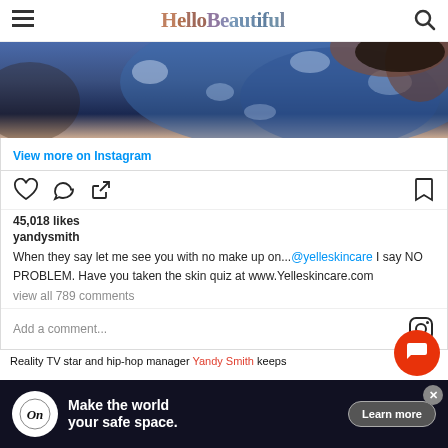HelloBeautiful
[Figure (photo): Partial photo of a person wearing a blue patterned garment, cropped at top showing head/hair from behind or side]
View more on Instagram
45,018 likes
yandysmith
When they say let me see you with no make up on...@yelleskincare I say NO PROBLEM. Have you taken the skin quiz at www.Yelleskincare.com
view all 789 comments
Add a comment...
Reality TV star and hip-hop manager Yandy Smith keeps
[Figure (screenshot): Advertisement bar at bottom: On logo with text 'Make the world your safe space.' and Learn more button]